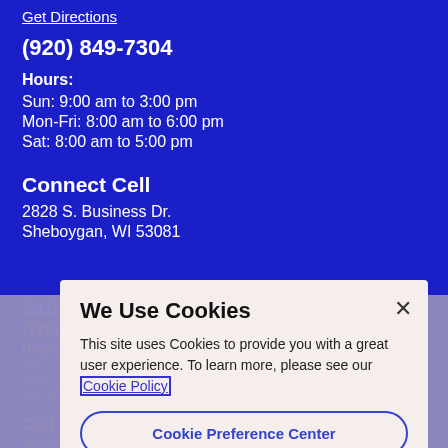Get Directions
(920) 849-7304
Hours:
Sun: 9:00 am to 3:00 pm
Mon-Fri: 8:00 am to 6:00 pm
Sat: 8:00 am to 5:00 pm
Connect Cell
2828 S. Business Dr.
Sheboygan, WI 53081
Get Directions
(920)
Hours:
Sun:
Mon: ...am to 8:00 pm
Sat: 9:00 am to 7:00 pm
Cell Plus
1045 Chee...
We Use Cookies
This site uses Cookies to provide you with a great user experience. To learn more, please see our Cookie Policy
Cookie Preference Center
Accept All Cookies